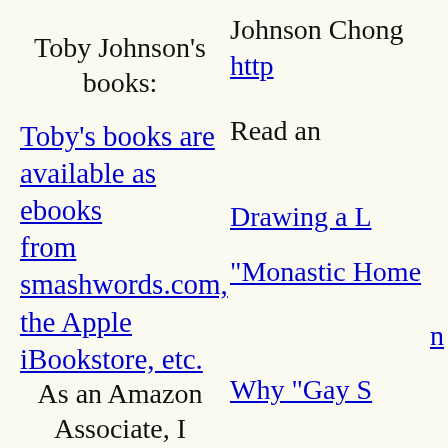Toby Johnson's books:
Toby's books are available as ebooks from smashwords.com, the Apple iBookstore, etc.
As an Amazon Associate, I
Johnson Chong
http
Read an
Drawing a L
"Monastic Home
n
Why "Gay S